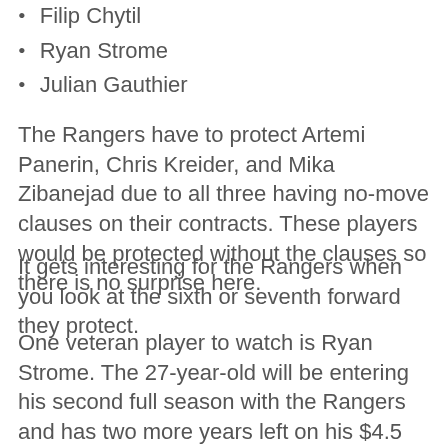Filip Chytil
Ryan Strome
Julian Gauthier
The Rangers have to protect Artemi Panerin, Chris Kreider, and Mika Zibanejad due to all three having no-move clauses on their contracts. These players would be protected without the clauses so there is no surprise here.
It gets interesting for the Rangers when you look at the sixth or seventh forward they protect.
One veteran player to watch is Ryan Strome. The 27-year-old will be entering his second full season with the Rangers and has two more years left on his $4.5 million contract. If he is not in New York's long-term plans it wouldn't be a shock to see him exposed and dangled in front